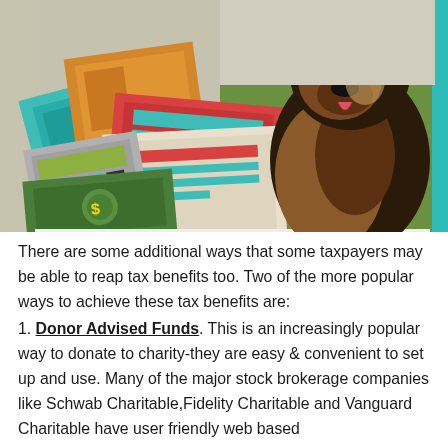[Figure (photo): A fluffy black and tan dog sitting on grass with mouth open, next to illustrated colorful cards/documents and a calculator graphic. Teal border on the right side of the image.]
There are some additional ways that some taxpayers may be able to reap tax benefits too. Two of the more popular ways to achieve these tax benefits are:
1. Donor Advised Funds. This is an increasingly popular way to donate to charity-they are easy & convenient to set up and use. Many of the major stock brokerage companies like Schwab Charitable,Fidelity Charitable and Vanguard Charitable have user friendly web based